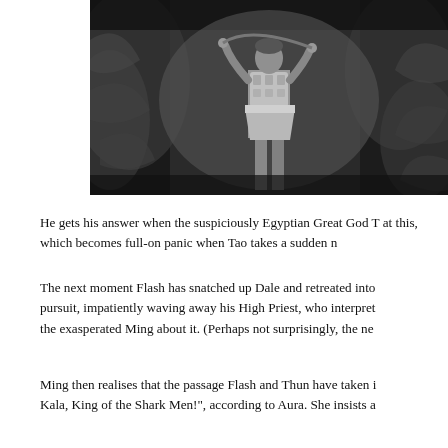[Figure (photo): Black and white still from a film showing a person in ancient/fantasy costume standing in a rocky cave or grotto setting, wearing a decorative breastplate and short skirt-like garment.]
He gets his answer when the suspiciously Egyptian Great God T... at this, which becomes full-on panic when Tao takes a sudden n...
The next moment Flash has snatched up Dale and retreated into... pursuit, impatiently waving away his High Priest, who interpret... the exasperated Ming about it. (Perhaps not surprisingly, the ne...
Ming then realises that the passage Flash and Thun have taken i... Kala, King of the Shark Men!", according to Aura. She insists a...